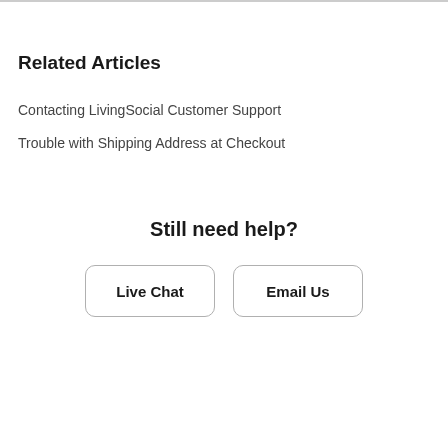Related Articles
Contacting LivingSocial Customer Support
Trouble with Shipping Address at Checkout
Still need help?
Live Chat
Email Us